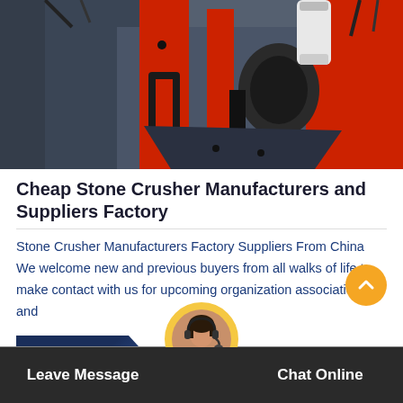[Figure (photo): Close-up photo of industrial stone crusher machinery showing red metal components, hydraulic cylinders, and mechanical parts against dark grey metal housing]
Cheap Stone Crusher Manufacturers and Suppliers Factory
Stone Crusher Manufacturers Factory Suppliers From China We welcome new and previous buyers from all walks of life to make contact with us for upcoming organization associations and
Get Price >
Leave Message   Chat Online